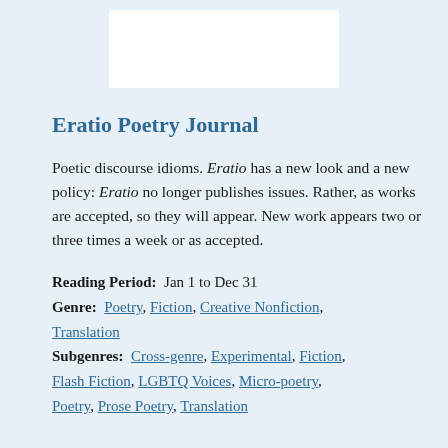[Figure (other): White rectangular banner image at top of page on light blue background]
Eratio Poetry Journal
Poetic discourse idioms. Eratio has a new look and a new policy: Eratio no longer publishes issues. Rather, as works are accepted, so they will appear. New work appears two or three times a week or as accepted.
Reading Period:  Jan 1 to Dec 31
Genre:  Poetry, Fiction, Creative Nonfiction, Translation
Subgenres:  Cross-genre, Experimental, Fiction, Flash Fiction, LGBTQ Voices, Micro-poetry, Poetry, Prose Poetry, Translation